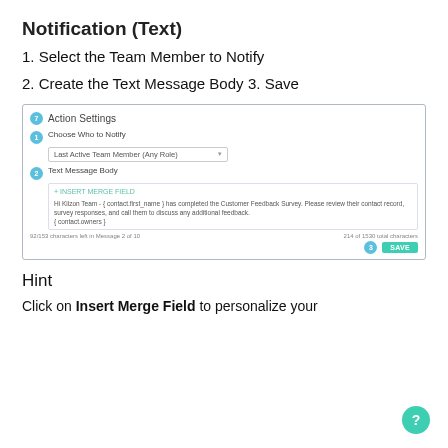Notification (Text)
1. Select the Team Member to Notify
2. Create the Text Message Body
3. Save
[Figure (screenshot): Action Settings UI screenshot showing steps: 1) Choose Who to Notify with dropdown 'Last Active Team Member (Any Role)', 2) Text Message Body with Insert Merge Field link and sample message text about Customer Feedback Survey, character count rows, and a Save button with step circle 3.]
Hint
Click on Insert Merge Field to personalize your